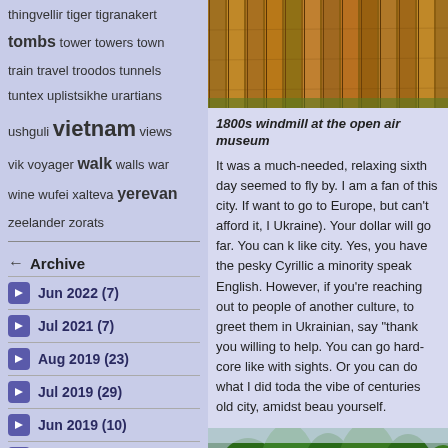thingvellir tiger tigranakert
tombs tower towers town
train travel troodos tunnels
tuntex uplistsikhe urartians
ushguli vietnam views
vik voyager walk walls war
wine wufei xalteva yerevan
zeelander zorats
Archive
Jun 2022 (7)
Jul 2021 (7)
Aug 2019 (23)
Jul 2019 (29)
Jun 2019 (10)
Apr 2019 (2)
Mar 2019 (4)
[Figure (photo): Wooden fence/wall planks, top portion of a photo]
1800s windmill at the open air museum
It was a much-needed, relaxing sixth day seemed to fly by. I am a fan of this city. If want to go to Europe, but can't afford it, I Ukraine). Your dollar will go far. You can k like city. Yes, you have the pesky Cyrillic a minority speak English. However, if you're reaching out to people of another culture, to greet them in Ukrainian, say "thank you willing to help. You can go hard-core like with sights. Or you can do what I did toda the vibe of centuries old city, amidst beau yourself.
[Figure (photo): Green tropical trees and foliage with a structure visible, bottom photo]